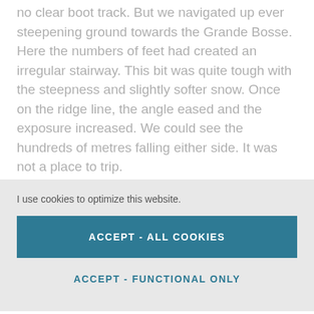no clear boot track. But we navigated up ever steepening ground towards the Grande Bosse. Here the numbers of feet had created an irregular stairway. This bit was quite tough with the steepness and slightly softer snow. Once on the ridge line, the angle eased and the exposure increased. We could see the hundreds of metres falling either side. It was not a place to trip.
I use cookies to optimize this website.
ACCEPT - ALL COOKIES
ACCEPT - FUNCTIONAL ONLY